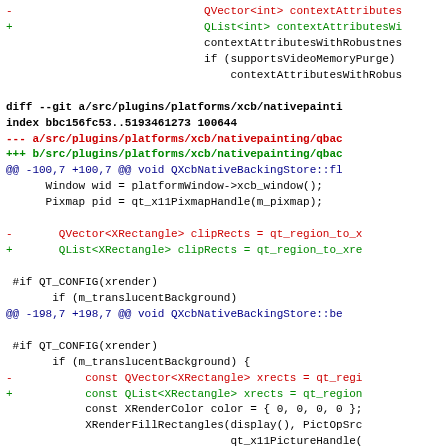diff --git a/src/plugins/platforms/xcb/nativepainting ... code diff showing QVector to QList changes